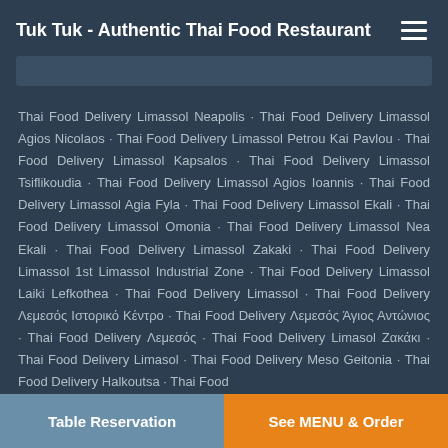Tuk Tuk - Authentic Thai Food Restaurant
Thai Food Delivery Limassol Neapolis · Thai Food Delivery Limassol Agios Nicolaos · Thai Food Delivery Limassol Petrou Kai Pavlou · Thai Food Delivery Limassol Kapsalos · Thai Food Delivery Limassol Tsiflikoudia · Thai Food Delivery Limassol Agios Ioannis · Thai Food Delivery Limassol Agia Fyla · Thai Food Delivery Limassol Ekali · Thai Food Delivery Limassol Omonia · Thai Food Delivery Limassol Nea Ekali · Thai Food Delivery Limassol Zakaki · Thai Food Delivery Limassol 1st Limassol Industrial Zone · Thai Food Delivery Limassol Laiki Lefkothea · Thai Food Delivery Limassol · Thai Food Delivery Λεμεσός Ιστορικό Κέντρο · Thai Food Delivery Λεμεσός Άγιος Αντώνιος · Thai Food Delivery Λεμεσός · Thai Food Delivery Limasol Ζακάκι · Thai Food Delivery Limasol · Thai Food Delivery Meso Geitonia · Thai Food Delivery Halkoutsa · Thai Food
Table Reservation | See MENU & Order